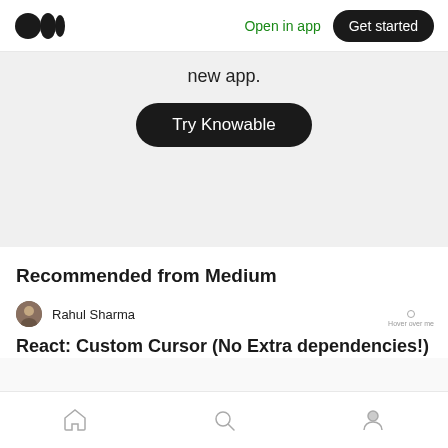[Figure (screenshot): Medium logo - two overlapping circles in black]
Open in app
Get started
new app.
Try Knowable
Recommended from Medium
Rahul Sharma
React: Custom Cursor (No Extra dependencies!)
Hover over me
[Figure (illustration): Bottom navigation bar with home, search, and profile icons]